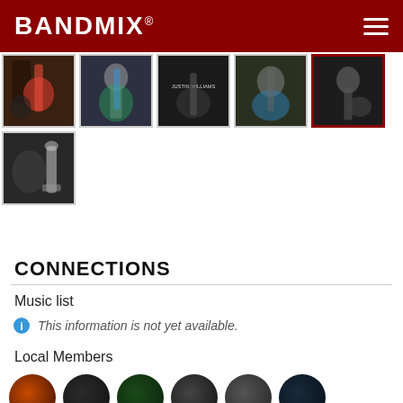BANDMIX®
[Figure (photo): Grid of 6 musician profile photos showing guitarists and a recording setup. Row 1: 5 photos of musicians playing guitars. Row 2: 1 photo of a person in a recording studio with a microphone.]
CONNECTIONS
Music list
This information is not yet available.
Local Members
[Figure (photo): Row of 6 circular member avatar photos partially visible at bottom of page.]